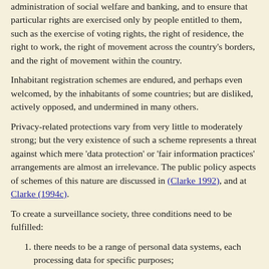administration of social welfare and banking, and to ensure that particular rights are exercised only by people entitled to them, such as the exercise of voting rights, the right of residence, the right to work, the right of movement across the country's borders, and the right of movement within the country.
Inhabitant registration schemes are endured, and perhaps even welcomed, by the inhabitants of some countries; but are disliked, actively opposed, and undermined in many others.
Privacy-related protections vary from very little to moderately strong; but the very existence of such a scheme represents a threat against which mere 'data protection' or 'fair information practices' arrangements are almost an irrelevance. The public policy aspects of schemes of this nature are discussed in (Clarke 1992), and at Clarke (1994c).
To create a surveillance society, three conditions need to be fulfilled:
there needs to be a range of personal data systems, each processing data for specific purposes;
personal data systems must be connected via one or more telecommunications networks; and
the data must be identified consistently.
The first two have been satisfied during the last two decades, as a result of the application of information technology. The third is